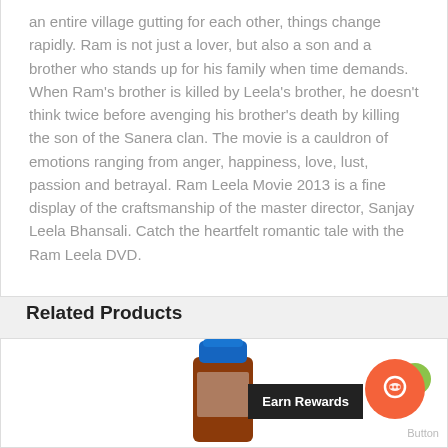an entire village gutting for each other, things change rapidly. Ram is not just a lover, but also a son and a brother who stands up for his family when time demands. When Ram's brother is killed by Leela's brother, he doesn't think twice before avenging his brother's death by killing the son of the Sanera clan. The movie is a cauldron of emotions ranging from anger, happiness, love, lust, passion and betrayal. Ram Leela Movie 2013 is a fine display of the craftsmanship of the master director, Sanjay Leela Bhansali. Catch the heartfelt romantic tale with the Ram Leela DVD.
Related Products
[Figure (photo): A bottle of medicine or liquid product with a blue cap and brown/red liquid, partially visible at the bottom of the page.]